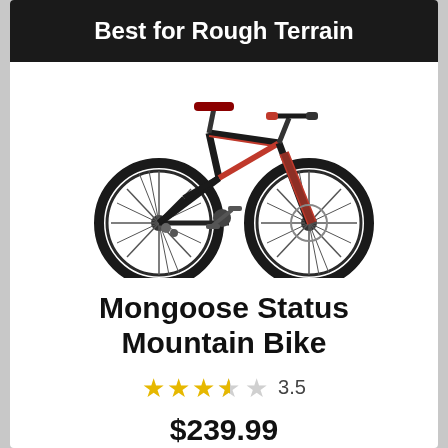Best for Rough Terrain
[Figure (photo): A black and red Mongoose Status mountain bike, full suspension, shown in a side profile view on a white background.]
Mongoose Status Mountain Bike
3.5
$239.99